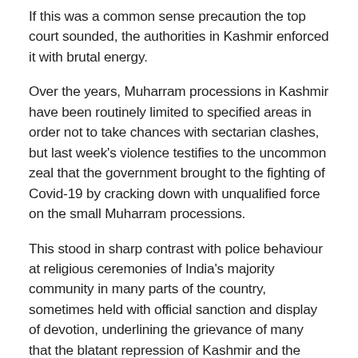If this was a common sense precaution the top court sounded, the authorities in Kashmir enforced it with brutal energy.
Over the years, Muharram processions in Kashmir have been routinely limited to specified areas in order not to take chances with sectarian clashes, but last week's violence testifies to the uncommon zeal that the government brought to the fighting of Covid-19 by cracking down with unqualified force on the small Muharram processions.
This stood in sharp contrast with police behaviour at religious ceremonies of India's majority community in many parts of the country, sometimes held with official sanction and display of devotion, underlining the grievance of many that the blatant repression of Kashmir and the taking away of J&K's historical rights owes to the fact of the Valley's denominational status in contrast with the rest of the country.